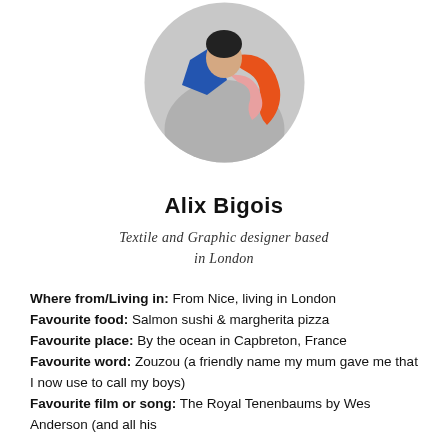[Figure (photo): Circular profile photo of Alix Bigois wearing a grey sweatshirt with colorful graphic design featuring blue and orange/pink shapes]
Alix Bigois
Textile and Graphic designer based in London
Where from/Living in: From Nice, living in London
Favourite food: Salmon sushi & margherita pizza
Favourite place: By the ocean in Capbreton, France
Favourite word: Zouzou (a friendly name my mum gave me that I now use to call my boys)
Favourite film or song: The Royal Tenenbaums by Wes Anderson (and all his